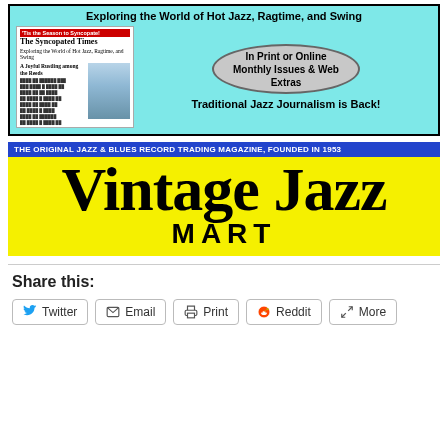[Figure (advertisement): The Syncopated Times advertisement: cyan background with newspaper image on left, oval badge reading 'In Print or Online Monthly Issues & Web Extras', tagline 'Exploring the World of Hot Jazz, Ragtime, and Swing', bottom text 'Traditional Jazz Journalism is Back!']
[Figure (logo): Vintage Jazz Mart logo: blue banner 'THE ORIGINAL JAZZ & BLUES RECORD TRADING MAGAZINE, FOUNDED IN 1953', yellow background with large black 'Vintage Jazz' text and 'MART' below]
Share this:
Twitter
Email
Print
Reddit
More